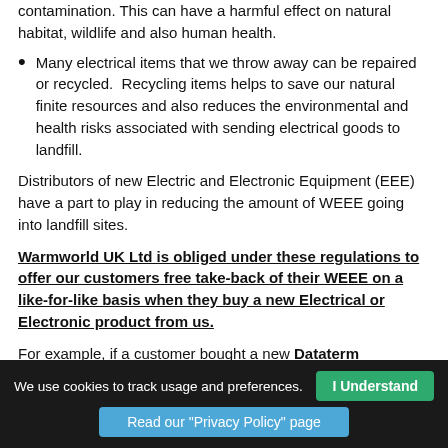contamination. This can have a harmful effect on natural habitat, wildlife and also human health.
Many electrical items that we throw away can be repaired or recycled. Recycling items helps to save our natural finite resources and also reduces the environmental and health risks associated with sending electrical goods to landfill.
Distributors of new Electric and Electronic Equipment (EEE) have a part to play in reducing the amount of WEEE going into landfill sites.
Warmworld UK Ltd is obliged under these regulations to offer our customers free take-back of their WEEE on a like-for-like basis when they buy a new Electrical or Electronic product from us.
For example, if a customer bought a new Dataterm Intelligent Heating Control from us we would accept their old Timer and Room Thermostat and prevent it going into a landfill site by disposing of it safely. Customers must return their WEEE item to us within 28 days of purchasing their new item.
We use cookies to track usage and preferences. | I Understand | Read our "Privacy Policy" page